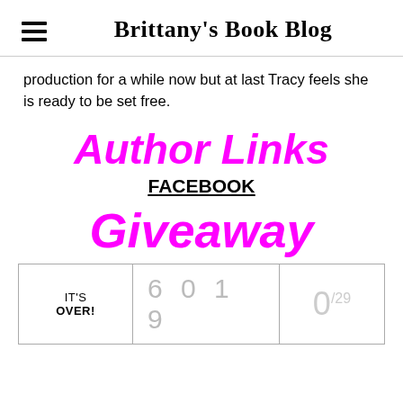Brittany's Book Blog
production for a while now but at last Tracy feels she is ready to be set free.
Author Links
FACEBOOK
Giveaway
| IT'S OVER! | 6 0 1 9 | 0/29 |